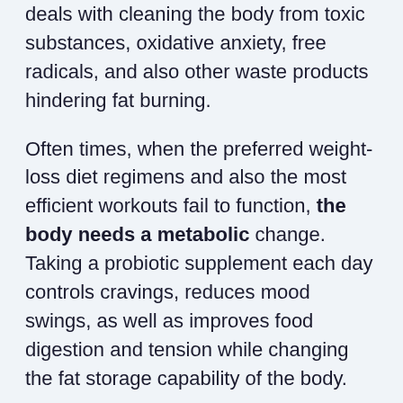deals with cleaning the body from toxic substances, oxidative anxiety, free radicals, and also other waste products hindering fat burning.
Often times, when the preferred weight-loss diet regimens and also the most efficient workouts fail to function, the body needs a metabolic change. Taking a probiotic supplement each day controls cravings, reduces mood swings, as well as improves food digestion and tension while changing the fat storage capability of the body.
There are 30 capsules in each container of LeanBiome, as well as this set bottle suffices for the entire month. Every capsule is made with specific dietary active ingredients, playing a handy function in weight-loss. It might work without diet